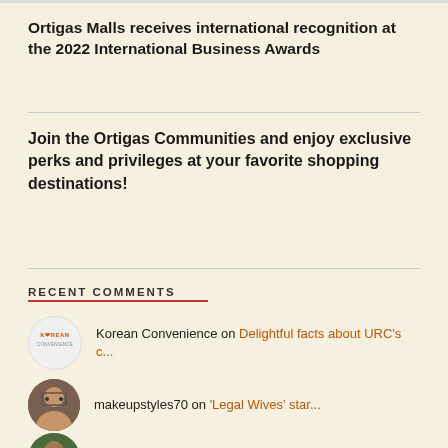Ortigas Malls receives international recognition at the 2022 International Business Awards
Join the Ortigas Communities and enjoy exclusive perks and privileges at your favorite shopping destinations!
RECENT COMMENTS
Korean Convenience on Delightful facts about URC's c...
makeupstyles70 on 'Legal Wives' star...
makeupstyles70 on Battle of the Legal Wives...